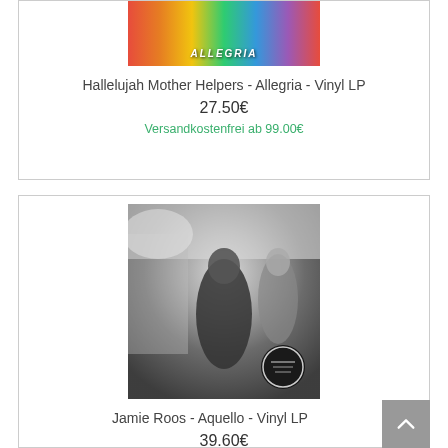[Figure (illustration): Colorful album cover for Allegria by Hallelujah Mother Helpers with rainbow/psychedelic gradient background and the word ALLEGRIA in white italic text]
Hallelujah Mother Helpers - Allegria - Vinyl LP
27.50€
Versandkostenfrei ab 99.00€
[Figure (photo): Black and white photo of people, appears to be a crowd scene with a man in center foreground, a circular label/sticker in the bottom right corner of the album cover]
Jamie Roos - Aquello - Vinyl LP
39.60€